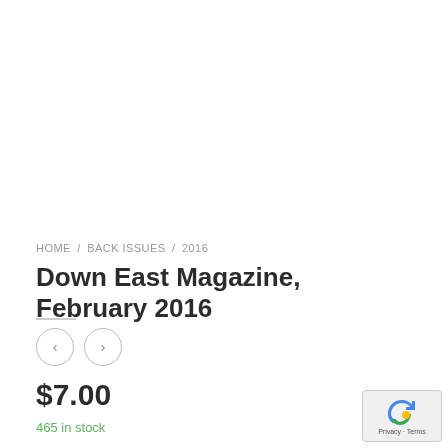HOME / BACK ISSUES / 2016
Down East Magazine, February 2016
$7.00
465 in stock